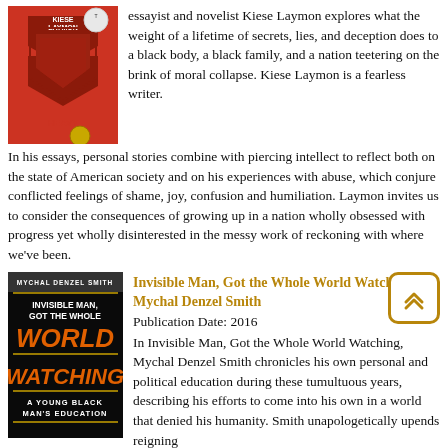[Figure (photo): Book cover of Heavy by Kiese Laymon, red background with geometric arrow shapes]
essayist and novelist Kiese Laymon explores what the weight of a lifetime of secrets, lies, and deception does to a black body, a black family, and a nation teetering on the brink of moral collapse. Kiese Laymon is a fearless writer.
In his essays, personal stories combine with piercing intellect to reflect both on the state of American society and on his experiences with abuse, which conjure conflicted feelings of shame, joy, confusion and humiliation. Laymon invites us to consider the consequences of growing up in a nation wholly obsessed with progress yet wholly disinterested in the messy work of reckoning with where we've been.
[Figure (illustration): Back-to-top button with double chevron icon, gold border]
[Figure (photo): Book cover of Invisible Man, Got the Whole World Watching by Mychal Denzel Smith, black background with gold and orange text]
Invisible Man, Got the Whole World Watching by Mychal Denzel Smith
Publication Date: 2016
In Invisible Man, Got the Whole World Watching, Mychal Denzel Smith chronicles his own personal and political education during these tumultuous years, describing his efforts to come into his own in a world that denied his humanity. Smith unapologetically upends reigning assumptions about black masculinity, rewriting the script for black manhood so that depression and anxiety aren't considered taboo, and feminism and LGBTQ rights become part of the fight. The questions Smith asks in this book are urgent -- for him, for the martyrs and the tokens, and for the Trawons that could have been and are still waiting.